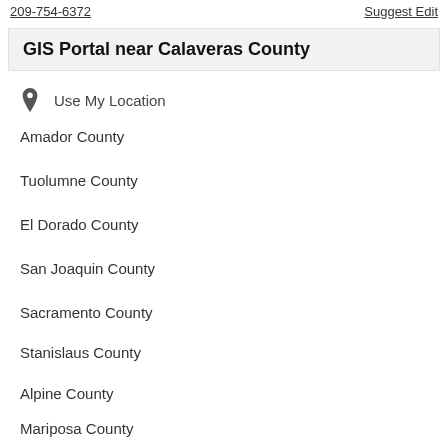209-754-6372   Suggest Edit
GIS Portal near Calaveras County
Use My Location
Amador County
Tuolumne County
El Dorado County
San Joaquin County
Sacramento County
Stanislaus County
Alpine County
Mariposa County
Placer County
Merced County